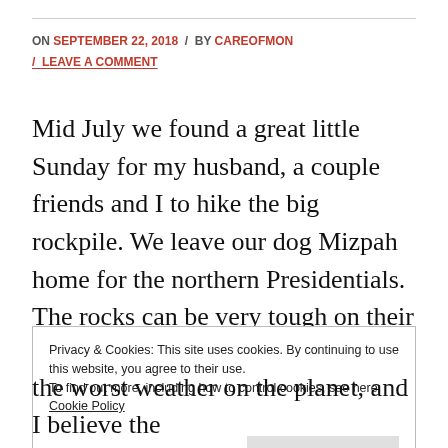ON SEPTEMBER 22, 2018 / BY CAREOFMON / LEAVE A COMMENT
Mid July we found a great little Sunday for my husband, a couple friends and I to hike the big rockpile. We leave our dog Mizpah home for the northern Presidentials. The rocks can be very tough on their pads and joints. I have hiked Mt. Washington in late March before, which was still very wintery. I had never hiked it
Privacy & Cookies: This site uses cookies. By continuing to use this website, you agree to their use.
To find out more, including how to control cookies, see here: Cookie Policy
Close and accept
the worst weather on the planet, and I believe the